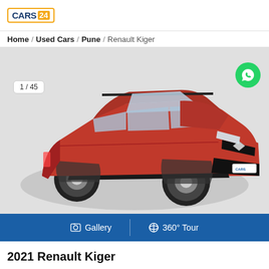[Figure (logo): CARS24 logo — orange bordered box with blue CARS text and orange 24 badge]
Home / Used Cars / Pune / Renault Kiger
[Figure (photo): Red Renault Kiger SUV photographed from front-left angle on a circular grey platform in a studio setting. Image counter badge '1 / 45' visible bottom-left. WhatsApp green circle button bottom-right.]
Gallery | 360° Tour
2021 Renault Kiger